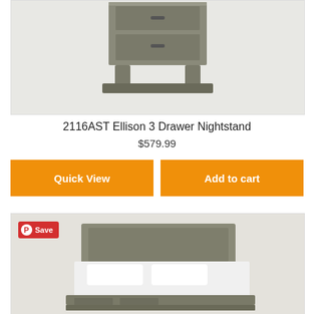[Figure (photo): Partial photo of a grey wood nightstand with drawers, cropped at the top]
2116AST Ellison 3 Drawer Nightstand
$579.99
Quick View
Add to cart
[Figure (photo): Photo of a grey wood platform bed with storage drawers and white bedding, with a Pinterest Save badge overlay]